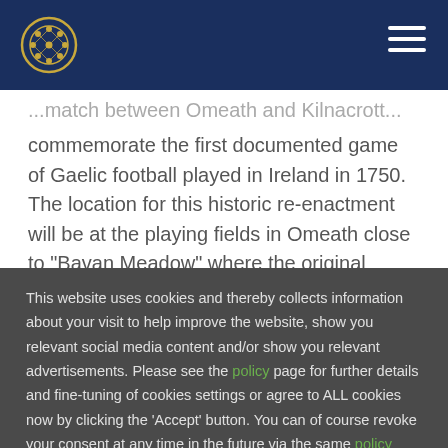GAA website header with logo and navigation
commemorate the first documented game of Gaelic football played in Ireland in 1750. The location for this historic re-enactment will be at the playing fields in Omeath close to “Bavan Meadow” where the original match was played.
Liam O’Neill, Uachtaran CLG will unveil the
This website uses cookies and thereby collects information about your visit to help improve the website, show you relevant social media content and/or show you relevant advertisements. Please see the policy page for further details and fine-tuning of cookies settings or agree to ALL cookies now by clicking the ‘Accept’ button. You can of course revoke your consent at any time in the future via the same policy page.